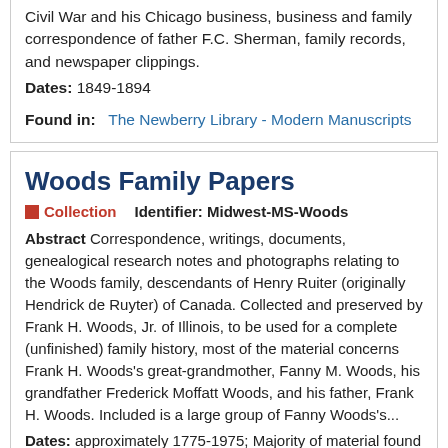Civil War and his Chicago business, business and family correspondence of father F.C. Sherman, family records, and newspaper clippings.
Dates: 1849-1894
Found in: The Newberry Library - Modern Manuscripts
Woods Family Papers
Collection   Identifier: Midwest-MS-Woods
Abstract Correspondence, writings, documents, genealogical research notes and photographs relating to the Woods family, descendants of Henry Ruiter (originally Hendrick de Ruyter) of Canada. Collected and preserved by Frank H. Woods, Jr. of Illinois, to be used for a complete (unfinished) family history, most of the material concerns Frank H. Woods's great-grandmother, Fanny M. Woods, his grandfather Frederick Moffatt Woods, and his father, Frank H. Woods. Included is a large group of Fanny Woods's...
Dates: approximately 1775-1975; Majority of material found within 1880 - 1975